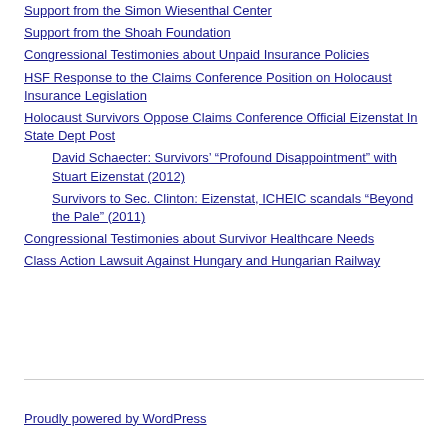Support from the Simon Wiesenthal Center
Support from the Shoah Foundation
Congressional Testimonies about Unpaid Insurance Policies
HSF Response to the Claims Conference Position on Holocaust Insurance Legislation
Holocaust Survivors Oppose Claims Conference Official Eizenstat In State Dept Post
David Schaecter: Survivors’ “Profound Disappointment” with Stuart Eizenstat (2012)
Survivors to Sec. Clinton: Eizenstat, ICHEIC scandals “Beyond the Pale” (2011)
Congressional Testimonies about Survivor Healthcare Needs
Class Action Lawsuit Against Hungary and Hungarian Railway
Proudly powered by WordPress